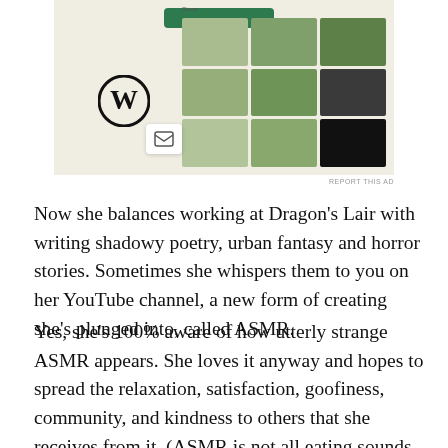[Figure (screenshot): Advertisement screenshot showing a WordPress/food blog website builder with a green button, WordPress logo, and phone mockup displaying food images in a grid layout]
REPORT THIS AD
Now she balances working at Dragon's Lair with writing shadowy poetry, urban fantasy and horror stories. Sometimes she whispers them to you on her YouTube channel, a new form of creating she’s plunged into, called ASMR.
Yes, she’s 100% aware of how utterly strange ASMR appears. She loves it anyway and hopes to spread the relaxation, satisfaction, goofiness, community, and kindness to others that she receives from it. (ASMR is not all eating sounds. There are plenty of other ASMR sounds. Daphne isn’t too fond of eating sounds, herself, but she is cool with everyone liking their own